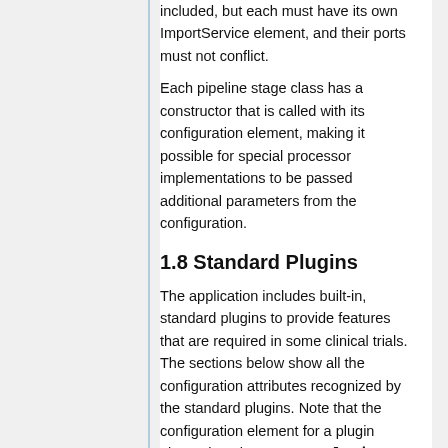included, but each must have its own ImportService element, and their ports must not conflict.
Each pipeline stage class has a constructor that is called with its configuration element, making it possible for special processor implementations to be passed additional parameters from the configuration.
1.8 Standard Plugins
The application includes built-in, standard plugins to provide features that are required in some clinical trials. The sections below show all the configuration attributes recognized by the standard plugins. Note that the configuration element for a plugin always has the tag name Plugin.